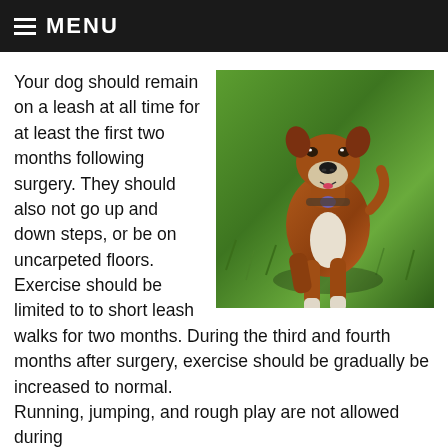MENU
[Figure (photo): A brown and white Boxer dog standing on green grass, looking at the camera]
Your dog should remain on a leash at all time for at least the first two months following surgery. They should also not go up and down steps, or be on uncarpeted floors. Exercise should be limited to to short leash walks for two months. During the third and fourth months after surgery, exercise should be gradually be increased to normal. Running, jumping, and rough play are not allowed during